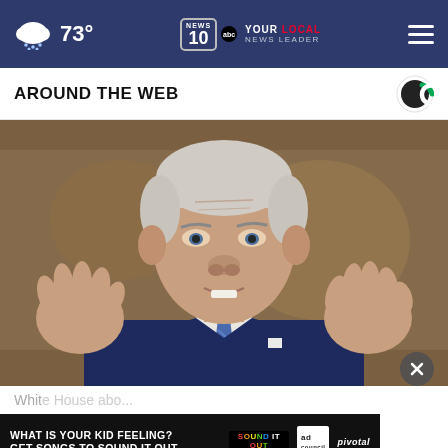73° NEWS10 YOUR LOCAL NEWS LEADER
AROUND THE WEB
[Figure (photo): Photo of President Biden speaking at microphones, wearing a blue suit and blue patterned tie, gesturing with both hands raised, in front of a decorative background]
White House abo... sup...
[Figure (infographic): Advertisement banner: WHAT IS YOUR KID FEELING? GET SONGS TO SOUND IT OUT. SOUND IT OUT. ad council pivotal]